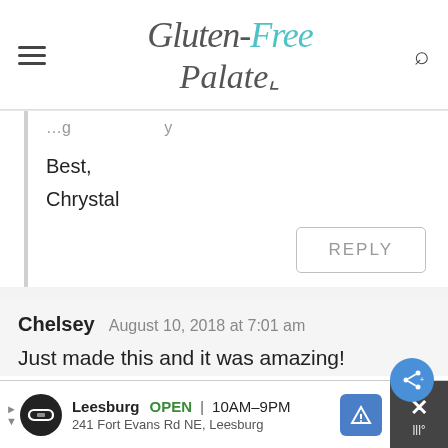Gluten-Free Palate
[partial text cut off at top]
Best,
Chrysal
REPLY
Chelsey  August 10, 2018 at 7:01 am
Just made this and it was amazing!
Leesburg  OPEN  10AM–9PM  241 Fort Evans Rd NE, Leesburg